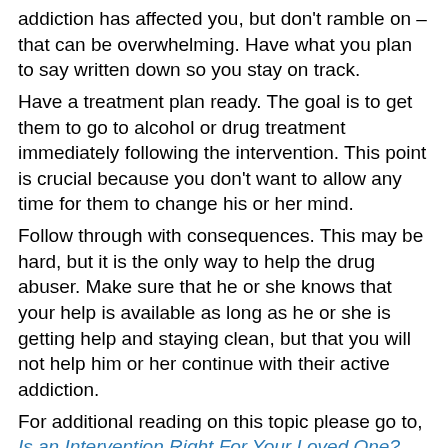addiction has affected you, but don't ramble on – that can be overwhelming. Have what you plan to say written down so you stay on track.
Have a treatment plan ready. The goal is to get them to go to alcohol or drug treatment immediately following the intervention. This point is crucial because you don't want to allow any time for them to change his or her mind.
Follow through with consequences. This may be hard, but it is the only way to help the drug abuser. Make sure that he or she knows that your help is available as long as he or she is getting help and staying clean, but that you will not help him or her continue with their active addiction.
For additional reading on this topic please go to, Is an Intervention Right For Your Loved One?
Interventions are emotionally exhausting for everyone involved, but they are often the only thing that can get the person with the substance abuse disorder to treatment. Whether interventions work or not depends on the willingness of the individual suffering from substance abuse and the support of the family. To learn more about interventions and